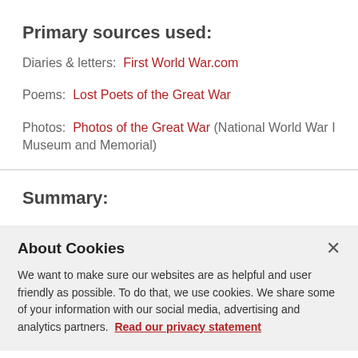Primary sources used:
Diaries & letters:  First World War.com
Poems:  Lost Poets of the Great War
Photos:  Photos of the Great War (National World War I Museum and Memorial)
Summary:
About Cookies
We want to make sure our websites are as helpful and user friendly as possible. To do that, we use cookies. We share some of your information with our social media, advertising and analytics partners. Read our privacy statement